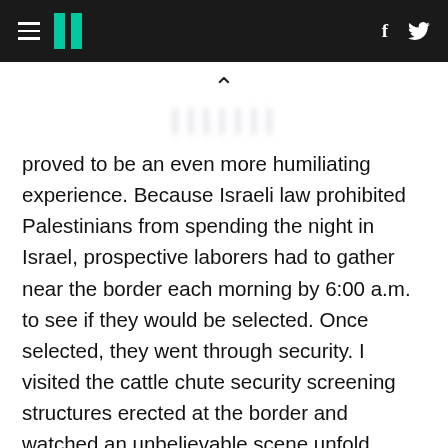HuffPost navigation header with hamburger menu, logo, Facebook and Twitter icons
proved to be an even more humiliating experience. Because Israeli law prohibited Palestinians from spending the night in Israel, prospective laborers had to gather near the border each morning by 6:00 a.m. to see if they would be selected. Once selected, they went through security. I visited the cattle chute security screening structures erected at the border and watched an unbelievable scene unfold before me as Palestinians were herded through the chutes holding their IDs over their heads as young armed Israeli soldiers straddled the chutes